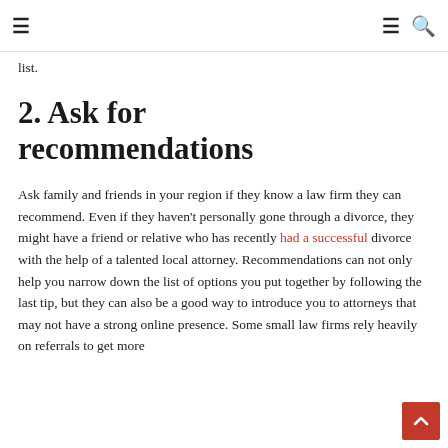≡   ≡ 🔍
list.
2. Ask for recommendations
Ask family and friends in your region if they know a law firm they can recommend. Even if they haven't personally gone through a divorce, they might have a friend or relative who has recently had a successful divorce with the help of a talented local attorney. Recommendations can not only help you narrow down the list of options you put together by following the last tip, but they can also be a good way to introduce you to attorneys that may not have a strong online presence. Some small law firms rely heavily on referrals to get more